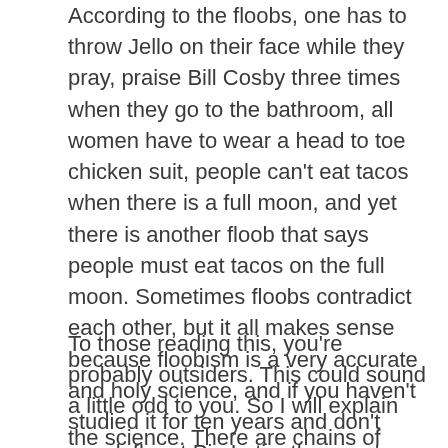According to the floobs, one has to throw Jello on their face while they pray, praise Bill Cosby three times when they go to the bathroom, all women have to wear a head to toe chicken suit, people can't eat tacos when there is a full moon, and yet there is another floob that says people must eat tacos on the full moon. Sometimes floobs contradict each other, but it all makes sense because floobism is a very accurate and holy science, and if you haven't studied it for ten years and don't speak fluent Pig Latin, then you're not really in any position to criticize it because all the floobs are carefully translated from Pig Latin.
To those reading this, you're probably outsiders. This could sound a little odd to you. So I will explain the science. There are chains of flubs used to verify the floobs. The floob about throwing Jello in one's face is